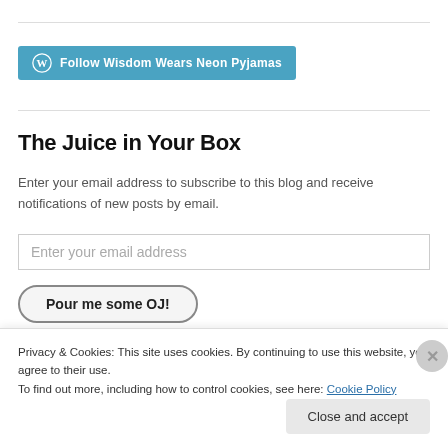[Figure (logo): Follow Wisdom Wears Neon Pyjamas button with WordPress icon]
The Juice in Your Box
Enter your email address to subscribe to this blog and receive notifications of new posts by email.
Enter your email address
Pour me some OJ!
Privacy & Cookies: This site uses cookies. By continuing to use this website, you agree to their use. To find out more, including how to control cookies, see here: Cookie Policy
Close and accept